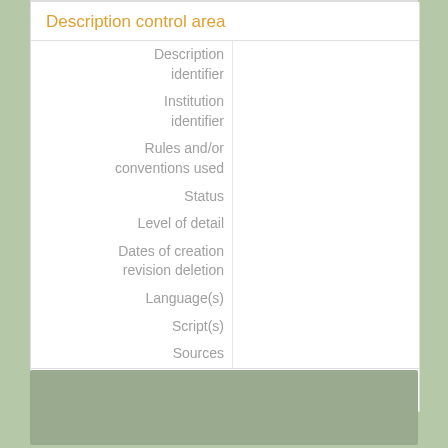Description control area
| Description identifier |  |
| Institution identifier |  |
| Rules and/or conventions used |  |
| Status |  |
| Level of detail |  |
| Dates of creation revision deletion |  |
| Language(s) |  |
| Script(s) |  |
| Sources |  |
Accession area